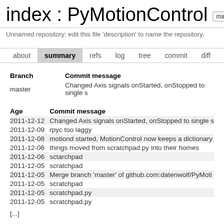index : PyMotionControl
Unnamed repository; edit this file 'description' to name the repository.
about  summary  refs  log  tree  commit  diff
| Branch | Commit message |
| --- | --- |
| master | Changed Axis signals onStarted, onStopped to single s... |
| Age | Commit message |
| --- | --- |
| 2011-12-12 | Changed Axis signals onStarted, onStopped to single s... |
| 2011-12-09 | rpyc too laggy |
| 2011-12-08 | motiond started, MotionControl now keeps a dictionary... |
| 2011-12-06 | things moved from scratchpad.py into their homes |
| 2011-12-06 | sctarchpad |
| 2011-12-05 | scratchpad |
| 2011-12-05 | Merge branch 'master' of github.com:datenwolf/PyMoti... |
| 2011-12-05 | scratchpad |
| 2011-12-05 | scratchpad.py |
| 2011-12-05 | scratchpad.py |
[...]